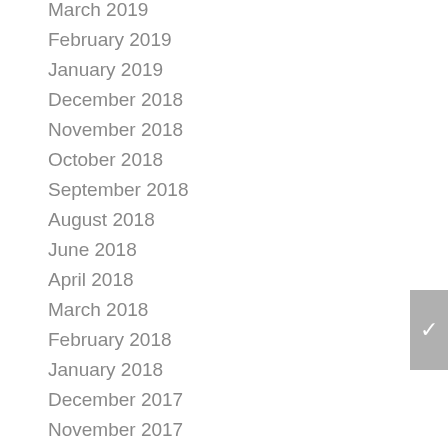March 2019
February 2019
January 2019
December 2018
November 2018
October 2018
September 2018
August 2018
June 2018
April 2018
March 2018
February 2018
January 2018
December 2017
November 2017